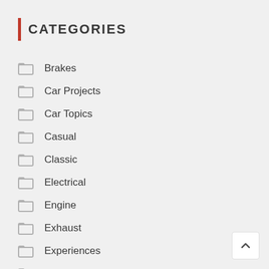CATEGORIES
Brakes
Car Projects
Car Topics
Casual
Classic
Electrical
Engine
Exhaust
Experiences
Games
Lifestyle
Mazda Guides